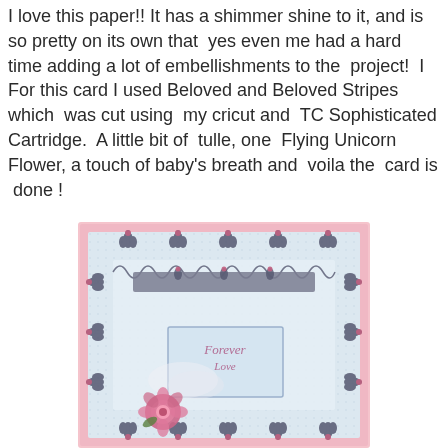I love this paper!! It has a shimmer shine to it, and is so pretty on its own that  yes even me had a hard time adding a lot of embellishments to the  project!  I For this card I used Beloved and Beloved Stripes which  was cut using  my cricut and  TC Sophisticated Cartridge.  A little bit of  tulle, one  Flying Unicorn Flower, a touch of baby's breath and  voila the  card is  done !
[Figure (photo): A handmade greeting card with pink shimmer paper background, ornate dark fleur-de-lis border cuts, layered panels, tulle, a pink flower, and a center label reading 'Forever Love']